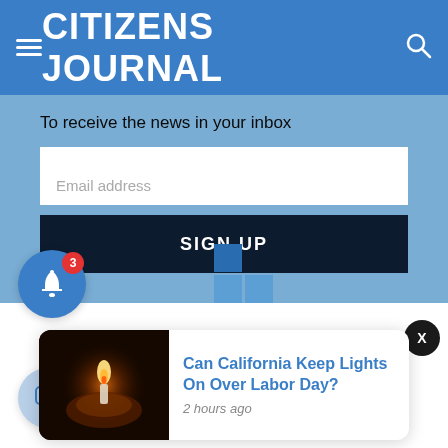CITIZENS JOURNAL
To receive the news in your inbox
Email address
SIGN UP
3
X
[Figure (screenshot): Notification card with image of hands holding a candle flame and article title 'Can California Keep Lights On Over Labor Day?' with timestamp '2 hours ago']